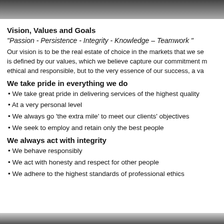[Figure (photo): Top partial photo strip showing people in dark clothing]
Vision, Values and Goals
“Passion - Persistence - Integrity - Knowledge – Teamwork ”
Our vision is to be the real estate of choice in the markets that we se... is defined by our values, which we believe capture our commitment m... ethical and responsible, but to the very essence of our success, a va...
We take pride in everything we do
We take great pride in delivering services of the highest quality
At a very personal level
We always go ‘the extra mile’ to meet our clients’ objectives
We seek to employ and retain only the best people
We always act with integrity
We behave responsibly
We act with honesty and respect for other people
We adhere to the highest standards of professional ethics
[Figure (photo): Bottom partial photo strip]